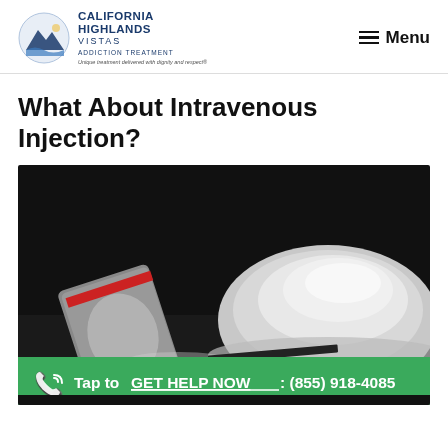California Highlands Vistas Addiction Treatment — Unique treatment delivered with dignity and respect® | Menu
What About Intravenous Injection?
[Figure (photo): Close-up dark background photo of white powder substance piled on a surface with small plastic bags, along with a green call-to-action bar reading 'Tap to GET HELP NOW: (855) 918-4085']